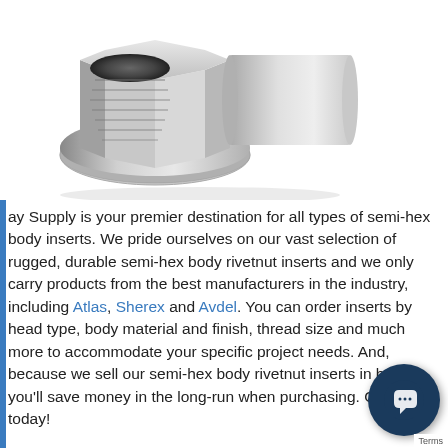[Figure (photo): 3D render of a silver metallic semi-hex body rivetnut insert, showing the hexagonal body and threaded interior, viewed at an angle]
ay Supply is your premier destination for all types of semi-hex body inserts. We pride ourselves on our vast selection of rugged, durable semi-hex body rivetnut inserts and we only carry products from the best manufacturers in the industry, including Atlas, Sherex and Avdel. You can order inserts by head type, body material and finish, thread size and much more to accommodate your specific project needs. And, because we sell our semi-hex body rivetnut inserts in bulk, you'll save money in the long-run when purchasing. Order today!